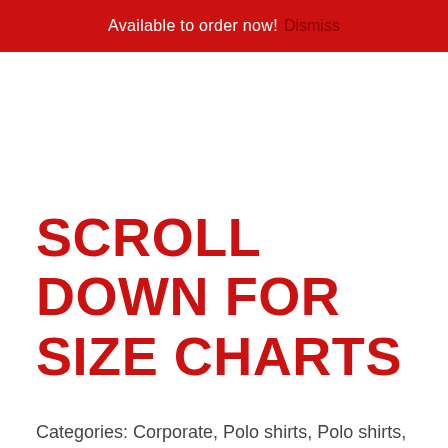Available to order now! Dismiss
SCROLL DOWN FOR SIZE CHARTS
Categories: Corporate, Polo shirts, Polo shirts, Polo shirts, School Leavers, Sportswear, Stock Range